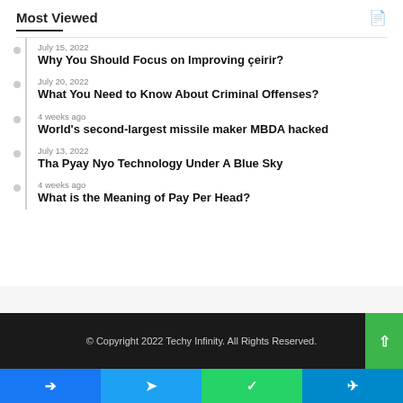Most Viewed
July 15, 2022
Why You Should Focus on Improving çeirir?
July 20, 2022
What You Need to Know About Criminal Offenses?
4 weeks ago
World's second-largest missile maker MBDA hacked
July 13, 2022
Tha Pyay Nyo Technology Under A Blue Sky
4 weeks ago
What is the Meaning of Pay Per Head?
© Copyright 2022 Techy Infinity. All Rights Reserved.